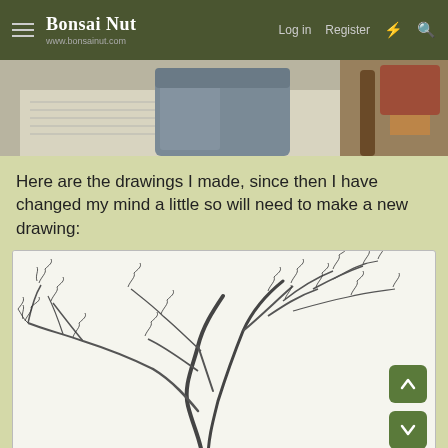Bonsai Nut — www.bonsainut.com — Log in  Register
[Figure (photo): Partial view of a bonsai tree in a dark grey pot on a table covered with newspaper]
Here are the drawings I made, since then I have changed my mind a little so will need to make a new drawing:
[Figure (illustration): A hand-drawn pencil sketch of a bonsai tree with a curved trunk, multiple branches with foliage clusters, in a shallow pot]